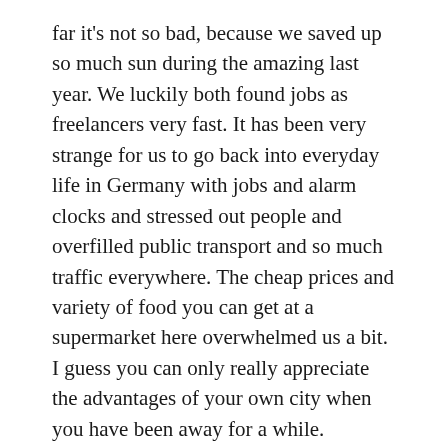far it's not so bad, because we saved up so much sun during the amazing last year. We luckily both found jobs as freelancers very fast. It has been very strange for us to go back into everyday life in Germany with jobs and alarm clocks and stressed out people and overfilled public transport and so much traffic everywhere. The cheap prices and variety of food you can get at a supermarket here overwhelmed us a bit. I guess you can only really appreciate the advantages of your own city when you have been away for a while.
When we heard about Irma we were very worried about our friends in St. Martin. It was heartbreaking to see the huge damage she caused on the island that we called our home for 2 month. We were relieved to hear none of our friends got harmed during the hurricane. But it's very sad that the greatest bar of the island, the JabJabs boat bar is now sitting on the